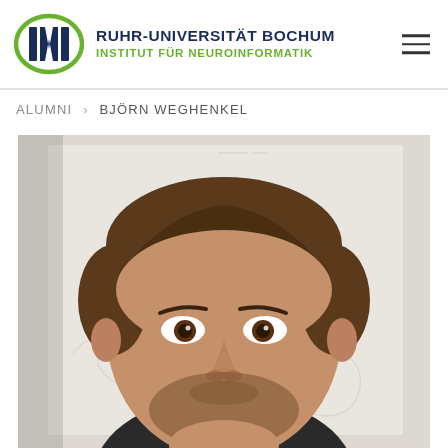RUHR-UNIVERSITÄT BOCHUM — INSTITUT FÜR NEUROINFORMATIK
ALUMNI > BJÖRN WEGHENKEL
[Figure (photo): Close-up portrait photo of Björn Weghenkel, a young man with short brown hair and a short beard, looking directly at the camera. Background shows a whiteboard with faint sketches.]